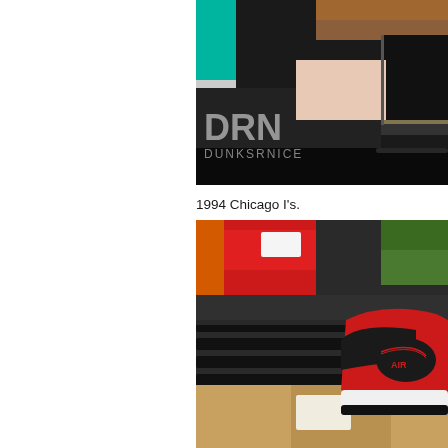[Figure (photo): Close-up photo of stacked sneaker shoe boxes on a shelf with dark background. A watermark reads 'DRN DUNKSRNICE' in grey text on the lower left.]
1994 Chicago I's.
[Figure (photo): Photo of an Air Jordan 1 Chicago sneaker in red, black, and white colorway displayed on a shelf, with blurred red, green, and cardboard shoe boxes in the background on a metal rack.]